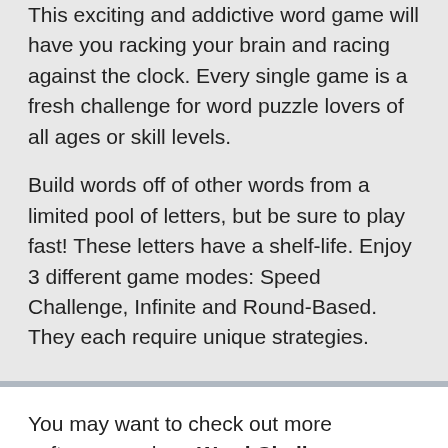This exciting and addictive word game will have you racking your brain and racing against the clock. Every single game is a fresh challenge for word puzzle lovers of all ages or skill levels.
Build words off of other words from a limited pool of letters, but be sure to play fast! These letters have a shelf-life. Enjoy 3 different game modes: Speed Challenge, Infinite and Round-Based. They each require unique strategies.
You may want to check out more software, such as Word Challenge Robot, Monster Truck Challenge or GameHouse Solitaire Challenge, which might be similar to Wordsense Challenge.
Download Wordsense Challenge from developer's website